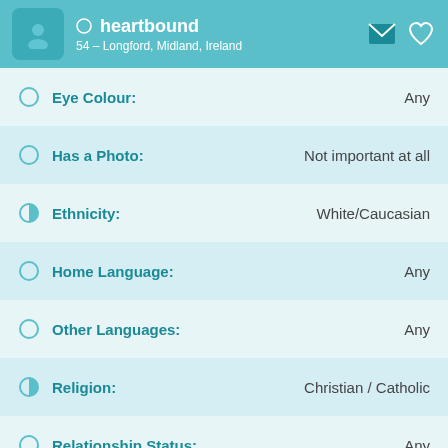heartbound – 54 – Longford, Midland, Ireland
Eye Colour: Any
Has a Photo: Not important at all
Ethnicity: White/Caucasian
Home Language: Any
Other Languages: Any
Religion: Christian / Catholic
Relationship Status: Any
Have Children: Any